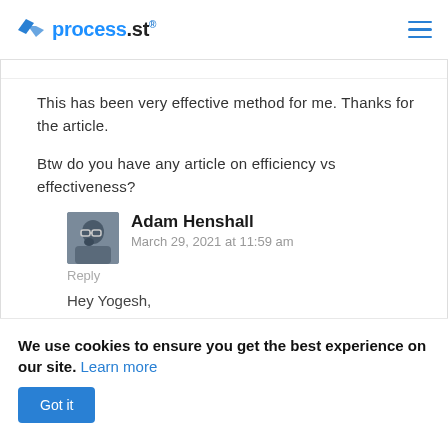process.st
This has been very effective method for me. Thanks for the article.
Btw do you have any article on efficiency vs effectiveness?
Adam Henshall
March 29, 2021 at 11:59 am
Reply
Hey Yogesh,
We don't have anything on that
We use cookies to ensure you get the best experience on our site. Learn more
Got it